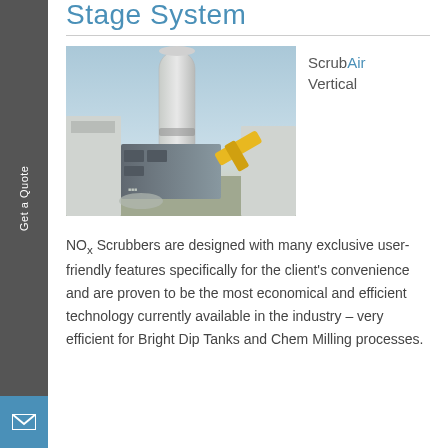Stage System
[Figure (photo): Industrial NOx scrubber system outdoors — tall white cylindrical tower with grey equipment housing and yellow mechanical arm attachment, photographed at dusk/dawn.]
ScrubAir Vertical
NOx Scrubbers are designed with many exclusive user-friendly features specifically for the client's convenience and are proven to be the most economical and efficient technology currently available in the industry – very efficient for Bright Dip Tanks and Chem Milling processes.